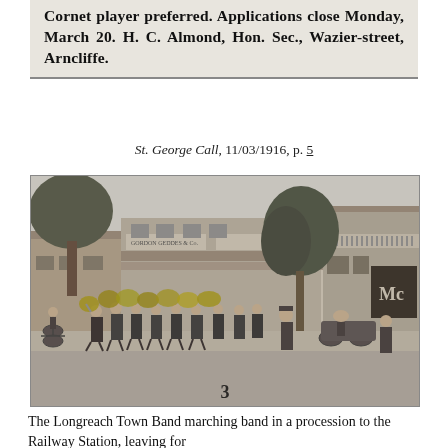Cornet player preferred. Applications close Monday, March 20. H. C. Almond, Hon. Sec., Wazier-street, Arncliffe.
St. George Call, 11/03/1916, p. 5
[Figure (photo): Black and white photograph of the Longreach Town Band marching band in a procession to the Railway Station. Band members are lined up in the street with instruments, storefronts visible in the background including signs for Gordon Geddes & Co, and a large tree in the centre. A number '3' appears at the bottom centre of the photo.]
The Longreach Town Band marching band in a procession to the Railway Station, leaving for